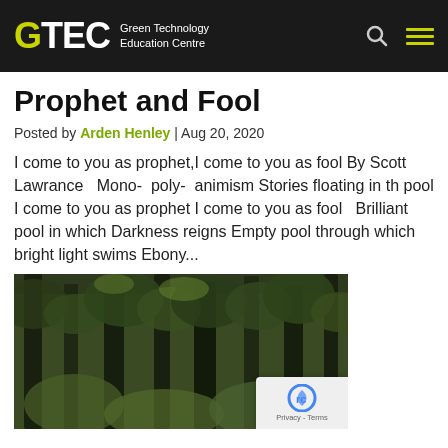GTEC Green Technology Education Centre
Prophet and Fool
Posted by Arden Henley | Aug 20, 2020
I come to you as prophet,I come to you as fool By Scott Lawrance   Mono-  poly-  animism Stories floating in th pool I come to you as prophet I come to you as fool   Brilliant pool in which Darkness reigns Empty pool through which bright light swims Ebony...
[Figure (photo): Forest with tall conifer trees and green undergrowth, viewed from below looking upward]